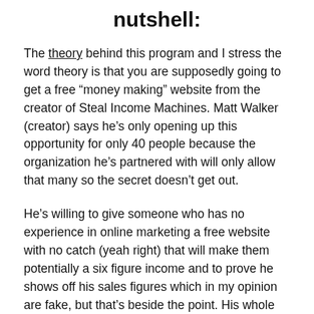nutshell:
The theory behind this program and I stress the word theory is that you are supposedly going to get a free “money making” website from the creator of Steal Income Machines. Matt Walker (creator) says he’s only opening up this opportunity for only 40 people because the organization he’s partnered with will only allow that many so the secret doesn’t get out.
He’s willing to give someone who has no experience in online marketing a free website with no catch (yeah right) that will make them potentially a six figure income and to prove he shows off his sales figures which in my opinion are fake, but that’s beside the point. His whole explanation for this is that by giving away these